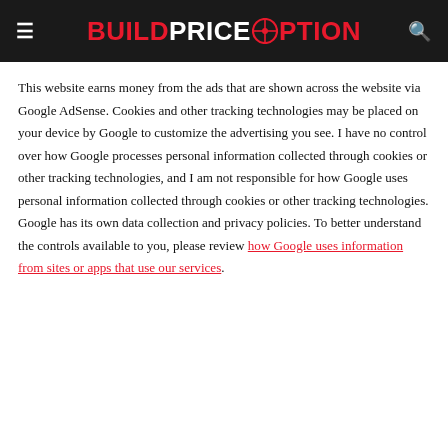BUILDPRICEOPTION
This website earns money from the ads that are shown across the website via Google AdSense. Cookies and other tracking technologies may be placed on your device by Google to customize the advertising you see. I have no control over how Google processes personal information collected through cookies or other tracking technologies, and I am not responsible for how Google uses personal information collected through cookies or other tracking technologies. Google has its own data collection and privacy policies. To better understand the controls available to you, please review how Google uses information from sites or apps that use our services.